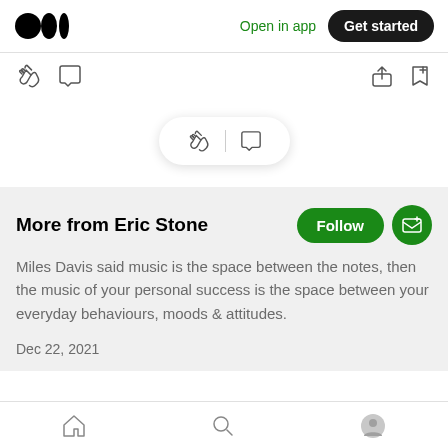Medium app header — Open in app | Get started
[Figure (screenshot): Action bar with clap icon, comment icon, share icon, and bookmark icon]
[Figure (screenshot): Floating pill with clap and comment icons]
More from Eric Stone
Miles Davis said music is the space between the notes, then the music of your personal success is the space between your everyday behaviours, moods & attitudes.
Dec 22, 2021
Bottom navigation: Home, Search, Profile